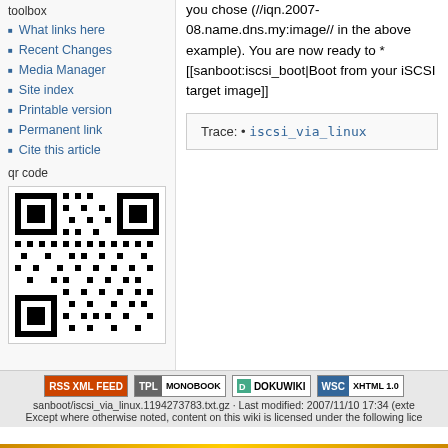you chose (//iqn.2007-08.name.dns.my:image// in the above example). You are now ready to * [[sanboot:iscsi_boot|Boot from your iSCSI target image]]
Trace: • iscsi_via_linux
toolbox
What links here
Recent Changes
Media Manager
Site index
Printable version
Permanent link
Cite this article
qr code
[Figure (other): QR code for iscsi_via_linux page]
sanboot/iscsi_via_linux.1194273783.txt.gz · Last modified: 2007/11/10 17:34 (exte
Except where otherwise noted, content on this wiki is licensed under the following lice